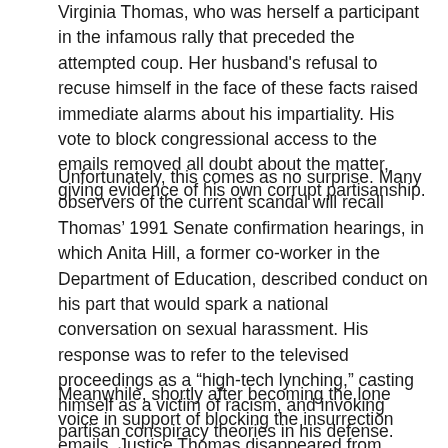Virginia Thomas, who was herself a participant in the infamous rally that preceded the attempted coup. Her husband's refusal to recuse himself in the face of these facts raised immediate alarms about his impartiality. His vote to block congressional access to the emails removed all doubt about the matter, giving evidence of his own corrupt partisanship.
Unfortunately, this comes as no surprise. Many observers of the current scandal will recall Thomas' 1991 Senate confirmation hearings, in which Anita Hill, a former co-worker in the Department of Education, described conduct on his part that would spark a national conversation on sexual harassment. His response was to refer to the televised proceedings as a “high-tech lynching,” casting himself as a victim of racism, and invoking partisan conspiracy theories in his defense. Despite the unseemly optics of his performance, he won confirmation and has nursed bitter resentments ever since, earning a reputation as the Supreme Court's most reliably sullen member.
Meanwhile, shortly after becoming the lone voice in support of blocking the insurrection emails, Justice Thomas disappeared from public view. According to initial reports, he was hospitalized with flu-like symptoms, but subsequent reports have cast doubt...